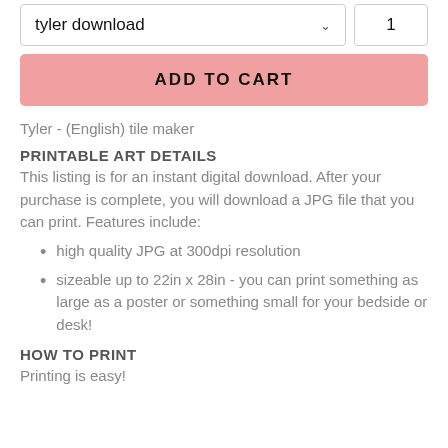[Figure (screenshot): Dropdown selector showing 'tyler download' and quantity box showing '1']
[Figure (screenshot): Pink 'ADD TO CART' button]
Tyler - (English) tile maker
PRINTABLE ART DETAILS
This listing is for an instant digital download. After your purchase is complete, you will download a JPG file that you can print. Features include:
high quality JPG at 300dpi resolution
sizeable up to 22in x 28in - you can print something as large as a poster or something small for your bedside or desk!
HOW TO PRINT
Printing is easy!